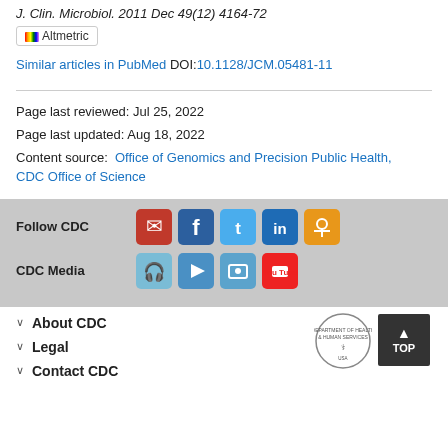J. Clin. Microbiol. 2011 Dec 49(12) 4164-72
[Figure (other): Altmetric badge widget]
Similar articles in PubMed DOI:10.1128/JCM.05481-11
Page last reviewed: Jul 25, 2022
Page last updated: Aug 18, 2022
Content source:  Office of Genomics and Precision Public Health, CDC Office of Science
[Figure (other): Follow CDC social media icons: email, Facebook, Twitter, LinkedIn, RSS feed]
[Figure (other): CDC Media icons: podcast, video, photos, YouTube]
About CDC
Legal
Contact CDC
[Figure (other): HHS Department of Health and Human Services seal and TOP button]